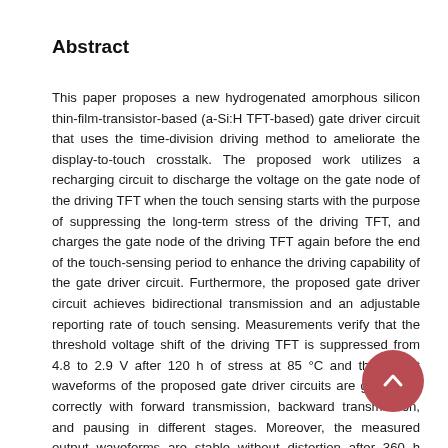Abstract
This paper proposes a new hydrogenated amorphous silicon thin-film-transistor-based (a-Si:H TFT-based) gate driver circuit that uses the time-division driving method to ameliorate the display-to-touch crosstalk. The proposed work utilizes a recharging circuit to discharge the voltage on the gate node of the driving TFT when the touch sensing starts with the purpose of suppressing the long-term stress of the driving TFT, and charges the gate node of the driving TFT again before the end of the touch-sensing period to enhance the driving capability of the gate driver circuit. Furthermore, the proposed gate driver circuit achieves bidirectional transmission and an adjustable reporting rate of touch sensing. Measurements verify that the threshold voltage shift of the driving TFT is suppressed from 4.8 to 2.9 V after 120 h of stress at 85 °C and the output waveforms of the proposed gate driver circuits are generated correctly with forward transmission, backward transmission, and pausing in different stages. Moreover, the measured output waveforms are stable without distortion after 360 h reliability test at 85 °C. Consequently, the proposed gate driver circuit is